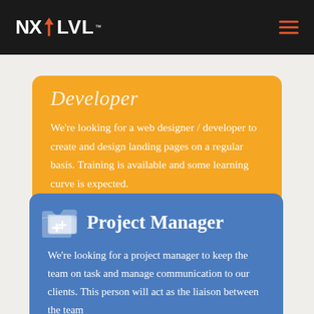NXT LVL (logo with navigation)
Developer
We're looking for a web designer / developer to create and design landing pages on a regular basis. Training is available and some learning curve is expected.
Project Manager
We're looking for a project manager to keep the team on task and manage communication to our clients. This person will act as the liaison between the team